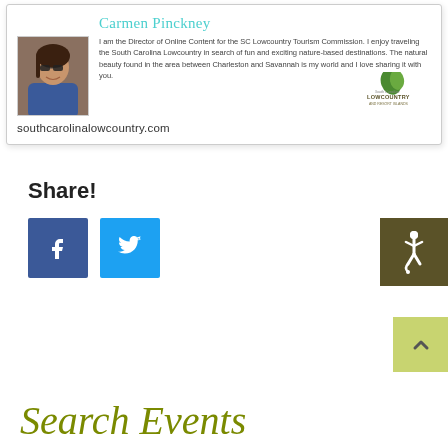[Figure (illustration): Author bio card for Carmen Pinckney, Director of Online Content for the SC Lowcountry Tourism Commission, with photo, bio text, website URL, and Lowcountry logo]
Share!
[Figure (infographic): Facebook share button (blue square with white f icon) and Twitter share button (light blue square with white bird icon), plus accessibility icon (dark olive square with wheelchair symbol), and back-to-top button (yellow-green square with up arrow)]
Search Events